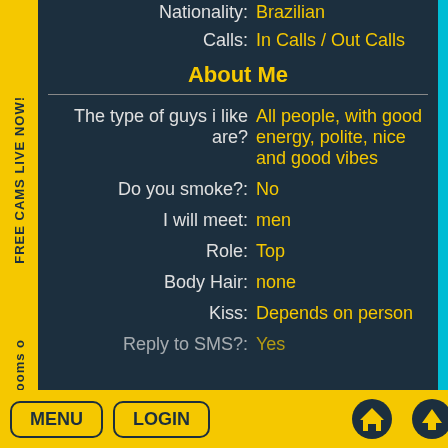Nationality: Brazilian
Calls: In Calls / Out Calls
About Me
The type of guys i like are?: All people, with good energy, polite, nice and good vibes
Do you smoke?: No
I will meet: men
Role: Top
Body Hair: none
Kiss: Depends on person
Reply to SMS?: Yes
MENU  LOGIN